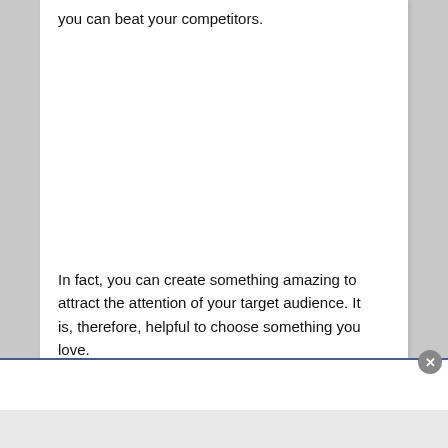you can beat your competitors.
In fact, you can create something amazing to attract the attention of your target audience. It is, therefore, helpful to choose something you love.